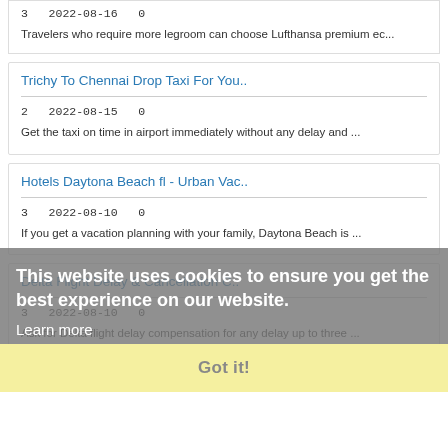3   2022-08-16   0
Travelers who require more legroom can choose Lufthansa premium ec...
Trichy To Chennai Drop Taxi For You..
2   2022-08-15   0
Get the taxi on time in airport immediately without any delay and ...
Hotels Daytona Beach fl - Urban Vac..
3   2022-08-10   0
If you get a vacation planning with your family, Daytona Beach is ...
Delta Flight Delay & Cancellation C..
3   2022-08-10   0
Ask for Delta flight delay compensation for any delay up to three ...
This website uses cookies to ensure you get the best experience on our website.
Learn more
Got it!